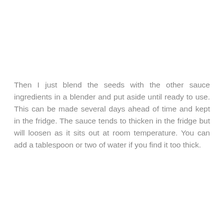Then I just blend the seeds with the other sauce ingredients in a blender and put aside until ready to use. This can be made several days ahead of time and kept in the fridge. The sauce tends to thicken in the fridge but will loosen as it sits out at room temperature. You can add a tablespoon or two of water if you find it too thick.